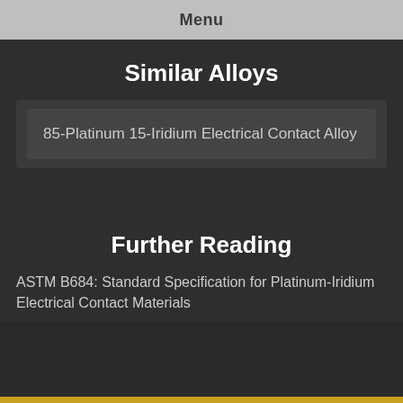Menu
Similar Alloys
85-Platinum 15-Iridium Electrical Contact Alloy
Further Reading
ASTM B684: Standard Specification for Platinum-Iridium Electrical Contact Materials